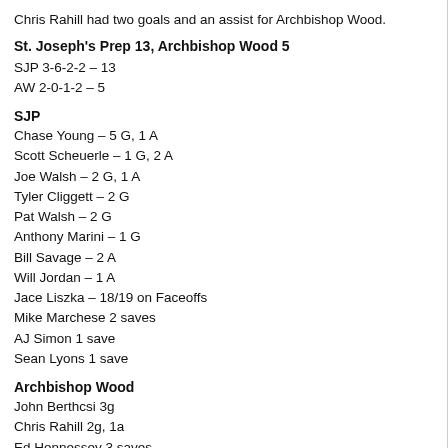Chris Rahill had two goals and an assist for Archbishop Wood.
St. Joseph's Prep 13, Archbishop Wood 5
SJP 3-6-2-2 – 13
AW 2-0-1-2 – 5
SJP
Chase Young – 5 G, 1 A
Scott Scheuerle – 1 G, 2 A
Joe Walsh – 2 G, 1 A
Tyler Cliggett – 2 G
Pat Walsh – 2 G
Anthony Marini – 1 G
Bill Savage – 2 A
Will Jordan – 1 A
Jace Liszka – 18/19 on Faceoffs
Mike Marchese 2 saves
AJ Simon 1 save
Sean Lyons 1 save
Archbishop Wood
John Berthcsi 3g
Chris Rahill 2g, 1a
Ed Hennessey 3 saves
Brett Katzianer 3 saves